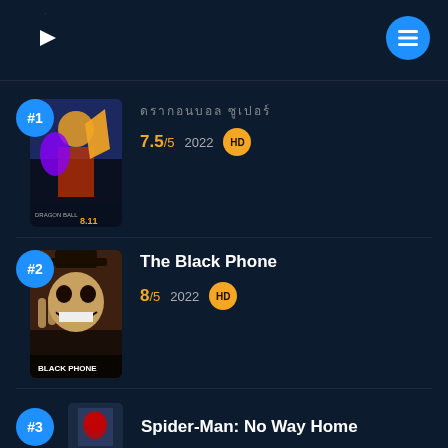[Figure (logo): Streaming app logo: a blue 'C' shape with a white play triangle inside, resembling a media player logo]
[Figure (other): Blue circular hamburger menu button with three white horizontal lines]
#1 [foreign script title] 7.5/5 2022 HD
#2 The Black Phone 8/5 2022 HD
#3 Spider-Man: No Way Home